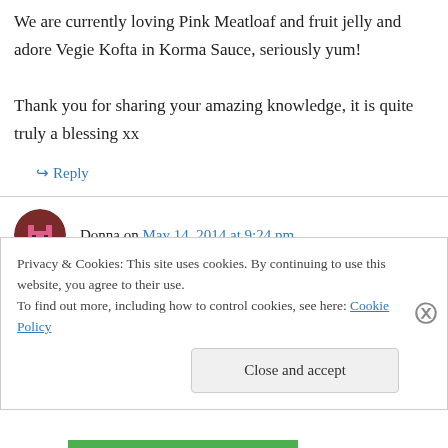We are currently loving Pink Meatloaf and fruit jelly and adore Vegie Kofta in Korma Sauce, seriously yum! Thank you for sharing your amazing knowledge, it is quite truly a blessing xx
↪ Reply
Donna on May 14, 2014 at 9:24 pm
I've not tried any of your recipes, yet! By the looks of the preview if I don't win this cookbook I
Privacy & Cookies: This site uses cookies. By continuing to use this website, you agree to their use. To find out more, including how to control cookies, see here: Cookie Policy
Close and accept